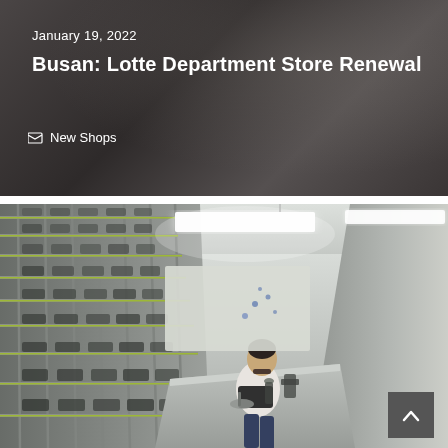January 19, 2022
Busan: Lotte Department Store Renewal
New Shops
[Figure (photo): Interior of an eyewear store or optical lab showing shelving units filled with glasses frames on the left wall, two staff members working at a central island counter, bright overhead fluorescent lighting, and a textured concrete wall on the right. The space has a clean, modern laboratory aesthetic.]